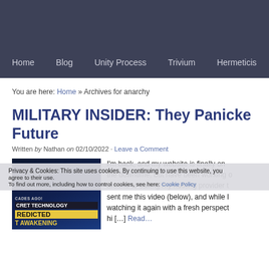Home   Blog   Unity Process   Trivium   Hermeticism
You are here: Home » Archives for anarchy
MILITARY INSIDER: They Panicked… Future
Written by Nathan on 02/10/2022 · Leave a Comment
Privacy & Cookies: This site uses cookies. By continuing to use this website, you... Cookie Policy
[Figure (photo): Thumbnail image with text overlays: 'CADES AGO!', 'CRET TECHNOLOGY', 'REDICTED', 'T AWAKENING' in yellow and white on dark blue background]
I'm back, and my website is finally on… the downtime, but have been working … around to calling my hosting provider … sent me this video (below), and while … watching it again with a fresh perspect… hi […] Read…